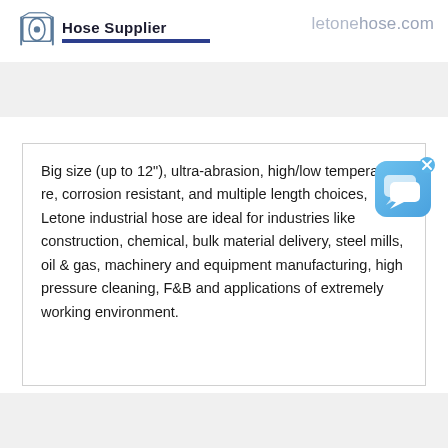Hose Supplier
Big size (up to 12"), ultra-abrasion, high/low temperature, corrosion resistant, and multiple length choices, Letone industrial hose are ideal for industries like construction, chemical, bulk material delivery, steel mills, oil & gas, machinery and equipment manufacturing, high pressure cleaning, F&B and applications of extremely working environment.
[Figure (illustration): Chat widget icon — blue rounded square with white speech bubbles overlay and small x close button]